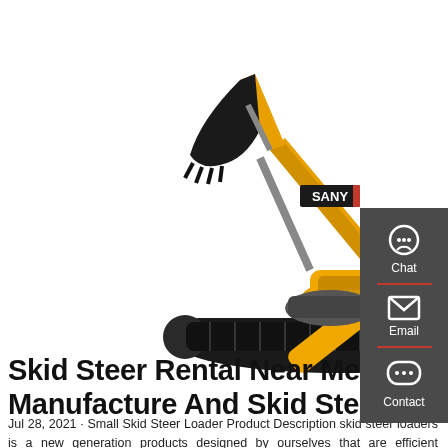[Figure (photo): SANY brand yellow excavator/crawler excavator on white background, showing full machine with extended arm and bucket]
Skid Steer Rental Near Me Manufacture And Skid Steer
Jul 28, 2021 · Small Skid Steer Loader Product Description skid steer loaders is a new generation products designed by ourselves that are efficient aesthetic flexible safe and reliable By adopting